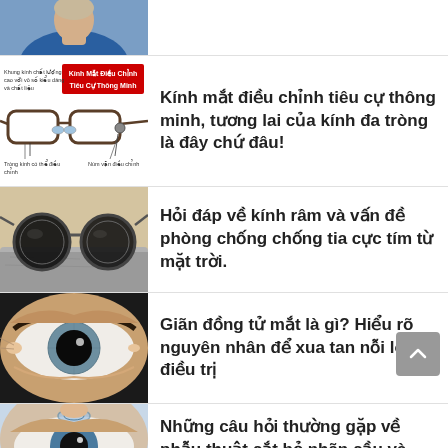[Figure (photo): Partial view of a doctor or person in blue scrubs/uniform, cropped at top]
[Figure (illustration): Diagram of adjustable focus eyeglasses with labels: 'Khung kính chất lượng cao với vô số kiểu dáng và chất liệu', 'Kính Mắt Điều Chỉnh Tiêu Cự Thông Minh', 'Tròng kính có thể điều chỉnh', 'Núm vặn điều chỉnh']
Kính mắt điều chỉnh tiêu cự thông minh, tương lai của kính đa tròng là đây chứ đâu!
[Figure (photo): Round black sunglasses resting on a stone/concrete surface]
Hỏi đáp về kính râm và vấn đề phòng chống chống tia cực tím từ mặt trời.
[Figure (photo): Close-up macro photo of a human eye with dilated pupil]
Giãn đồng tử mắt là gì? Hiểu rõ nguyên nhân để xua tan nỗi lo điều trị
[Figure (photo): Close-up of an eye with a contact lens being placed or held near it]
Những câu hỏi thường gặp về phẫu thuật cắt bỏ nhãn cầu và